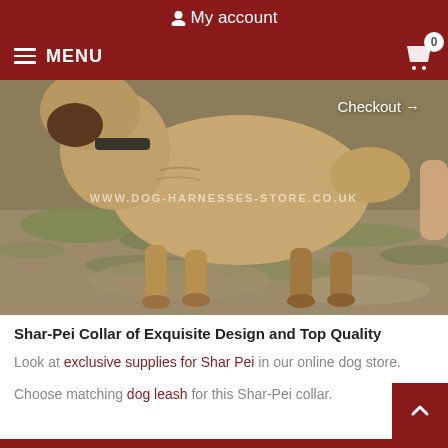My account
MENU  0
[Figure (photo): A Shar-Pei dog wearing a collar, photographed outdoors on grass and dirt ground. The dog is viewed from the side. A watermark reads www.dog-harnesses-store.co.uk. A 'Checkout →' link is overlaid on the image.]
Shar-Pei Collar of Exquisite Design and Top Quality
Look at exclusive supplies for Shar Pei in our online dog store.
Choose matching dog leash for this Shar-Pei collar.
£50.05  SELECT OPTIONS